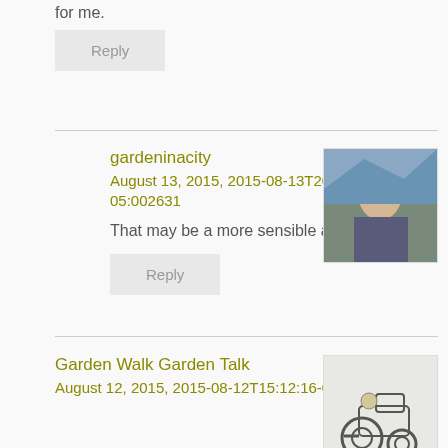for me.
Reply
gardeninacity
August 13, 2015, 2015-08-13T20:16:26-05:002631
[Figure (photo): Avatar photo of gardeninacity - outdoor scene with person]
That may be a more sensible approach.
Reply
Garden Walk Garden Talk
August 12, 2015, 2015-08-12T15:12:16-05:001631
[Figure (illustration): Avatar illustration of Garden Walk Garden Talk - person on tractor]